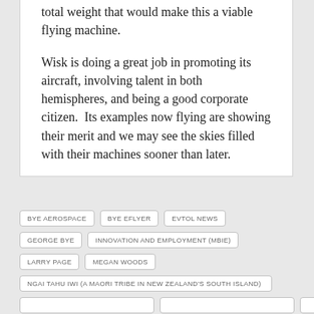total weight that would make this a viable flying machine.
Wisk is doing a great job in promoting its aircraft, involving talent in both hemispheres, and being a good corporate citizen.  Its examples now flying are showing their merit and we may see the skies filled with their machines sooner than later.
BYE AEROSPACE
BYE EFLYER
EVTOL NEWS
GEORGE BYE
INNOVATION AND EMPLOYMENT (MBIE)
LARRY PAGE
MEGAN WOODS
NGAI TAHU IWI (A MAORI TRIBE IN NEW ZEALAND'S SOUTH ISLAND)